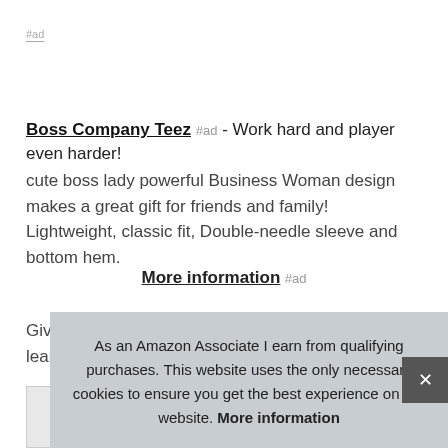#ad
Boss Company Teez #ad - Work hard and player even harder!
cute boss lady powerful Business Woman design makes a great gift for friends and family! Lightweight, classic fit, Double-needle sleeve and bottom hem.
More information #ad
Give this as a gift to all new business owners and learn to brag a little. Are you the boss of your own company? show off your success...
As an Amazon Associate I earn from qualifying purchases. This website uses the only necessary cookies to ensure you get the best experience on our website. More information